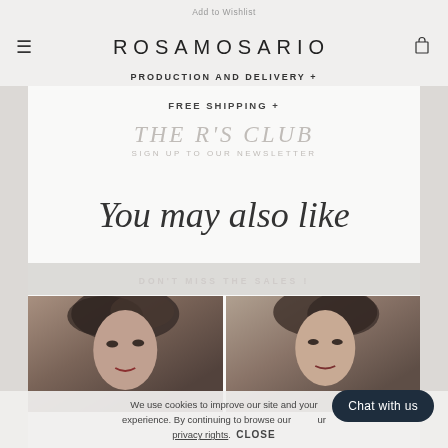Add to Wishlist
Viewed Nº: (0)
ROSAMOSARIO
PRODUCTION AND DELIVERY +
FREE SHIPPING +
THE R'S CLUB
SIGN UP TO OUR NEWSLETTER
You may also like
DON'T MISS THE SALES !
[Figure (photo): Two fashion model photos side by side]
We use cookies to improve our site and your experience. By continuing to browse our site, you accept our privacy rights.  CLOSE